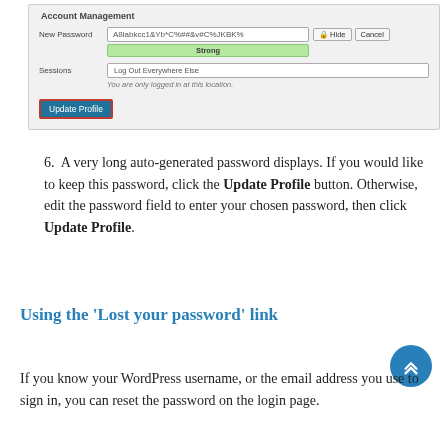[Figure (screenshot): WordPress Account Management screen showing New Password field with auto-generated password, a green Strong indicator bar, Sessions section with Log Out Everywhere Else button, and an Update Profile button highlighted with a red border.]
6. A very long auto-generated password displays. If you would like to keep this password, click the Update Profile button. Otherwise, edit the password field to enter your chosen password, then click Update Profile.
Using the 'Lost your password' link
If you know your WordPress username, or the email address you use to sign in, you can reset the password on the login page.